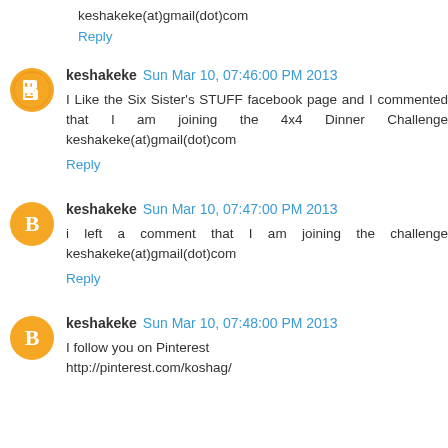keshakeke(at)gmail(dot)com
Reply
keshakeke  Sun Mar 10, 07:46:00 PM 2013
I Like the Six Sister's STUFF facebook page and I commented that I am joining the 4x4 Dinner Challenge keshakeke(at)gmail(dot)com
Reply
keshakeke  Sun Mar 10, 07:47:00 PM 2013
i left a comment that I am joining the challenge keshakeke(at)gmail(dot)com
Reply
keshakeke  Sun Mar 10, 07:48:00 PM 2013
I follow you on Pinterest http://pinterest.com/koshag/